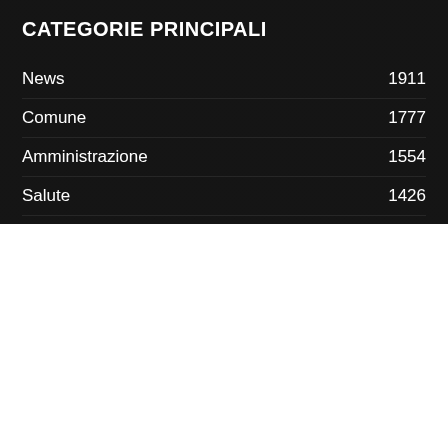CATEGORIE PRINCIPALI
News 1911
Comune 1777
Amministrazione 1554
Salute 1426
Area Vasta 1337
SanGavinoMonreale.Net usa cookie per garantire tutte le funzionalità del sito. Utilizziamo anche dei cookie a fini statistici, completamente anonimi. È tuo diritto essere informato in base al "Regolamento Ue 2016/679", noto come GDPR (General Data Protection Regulation). Clicca su "Impostazioni" per consentire solo alcuni cookie.
Impostazioni | Accetta Tutto